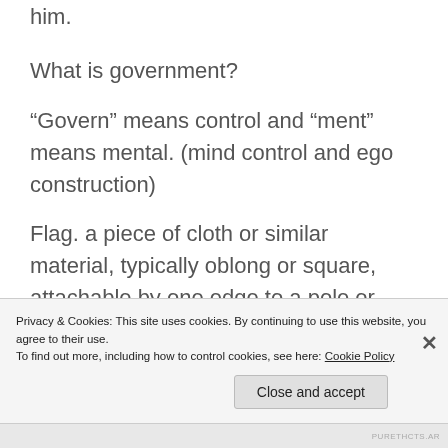him.
What is government?
“Govern” means control and “ment” means mental. (mind control and ego construction)
Flag. a piece of cloth or similar material, typically oblong or square, attachable by one edge to a pole or rope and used as the symbol or emblem of a country or institution
Privacy & Cookies: This site uses cookies. By continuing to use this website, you agree to their use.
To find out more, including how to control cookies, see here: Cookie Policy